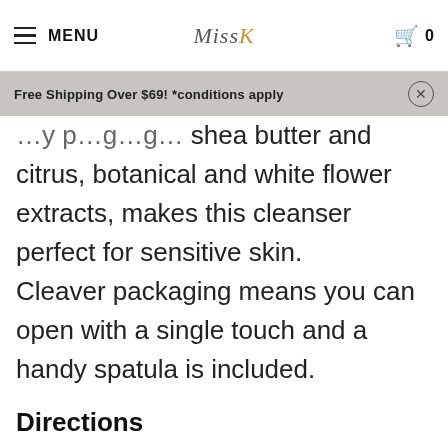MENU | Miss K | 0
Free Shipping Over $69! *conditions apply
shea butter and citrus, botanical and white flower extracts, makes this cleanser perfect for sensitive skin. Cleaver packaging means you can open with a single touch and a handy spatula is included.
Directions
1. Scoop 3-4 spoons of balm with the included spatula. Use dry hands to spread over your face, starting with the forehead, cheeks and chin.